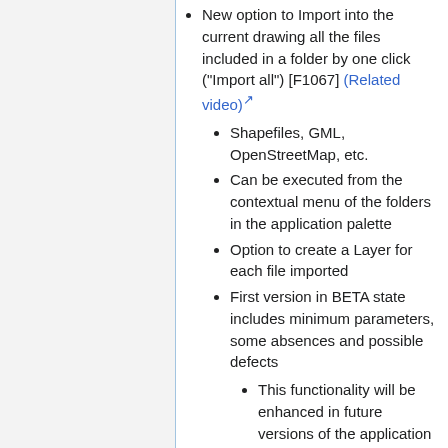New option to Import into the current drawing all the files included in a folder by one click ("Import all") [F1067] (Related video)
Shapefiles, GML, OpenStreetMap, etc.
Can be executed from the contextual menu of the folders in the application palette
Option to create a Layer for each file imported
First version in BETA state includes minimum parameters, some absences and possible defects
This functionality will be enhanced in future versions of the application